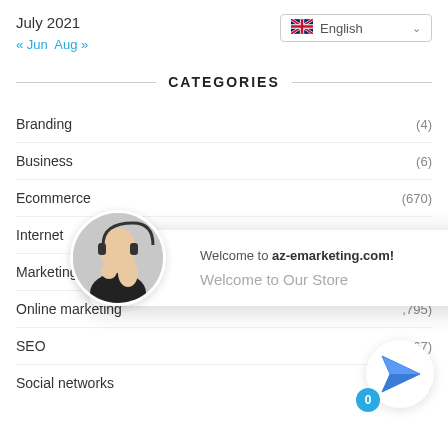July 2021
« Jun  Aug »
CATEGORIES
Branding (4)
Business (6)
Ecommerce (670)
Internet (,562)
Marketing (2)
Online marketing (,795)
SEO (7,167)
Social networks (1,858)
Welcome to az-emarketing.com!
Welcome to Our Store